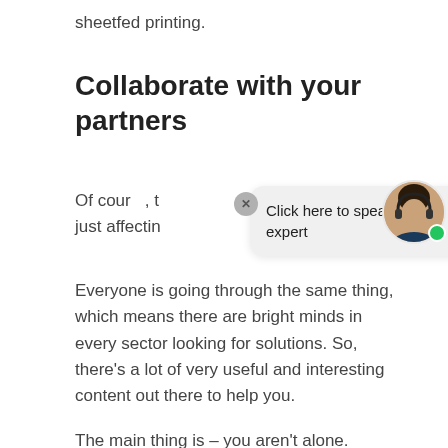sheetfed printing.
Collaborate with your partners
Of cour[X], t... just affectin...
[Figure (screenshot): Chat widget popup with 'Click here to speak to an expert' text, a close button (X), and an avatar photo of a woman wearing a headset with a green online indicator dot.]
Everyone is going through the same thing, which means there are bright minds in every sector looking for solutions. So, there's a lot of very useful and interesting content out there to help you.
The main thing is – you aren't alone.